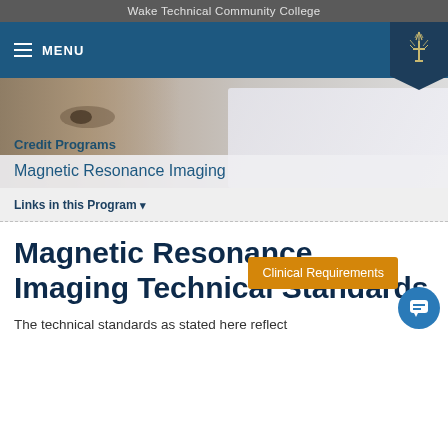Wake Technical Community College
MENU
Credit Programs
Magnetic Resonance Imaging
Links in this Program ▾
Magnetic Resonance Imaging Technical Standards
Clinical Requirements
The technical standards as stated here reflect